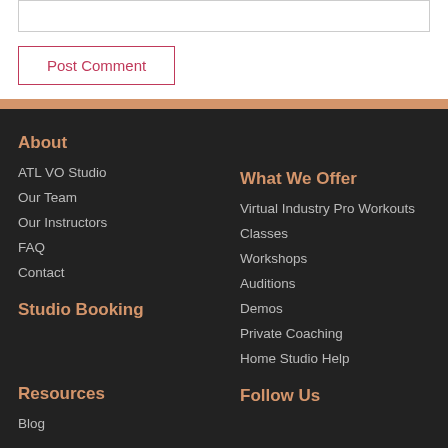[input box]
Post Comment
About
ATL VO Studio
Our Team
Our Instructors
FAQ
Contact
Studio Booking
Resources
Blog
What We Offer
Virtual Industry Pro Workouts
Classes
Workshops
Auditions
Demos
Private Coaching
Home Studio Help
Follow Us